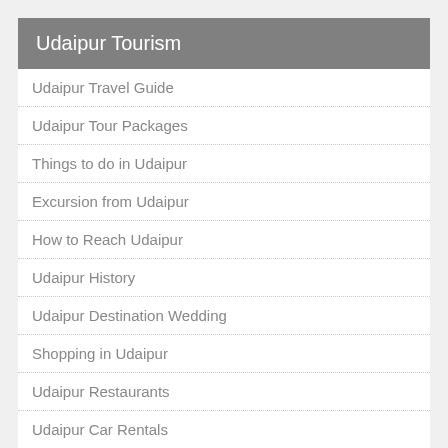Udaipur Tourism
Udaipur Travel Guide
Udaipur Tour Packages
Things to do in Udaipur
Excursion from Udaipur
How to Reach Udaipur
Udaipur History
Udaipur Destination Wedding
Shopping in Udaipur
Udaipur Restaurants
Udaipur Car Rentals
Udaipur Pictures
Places to Visit in Udaipur